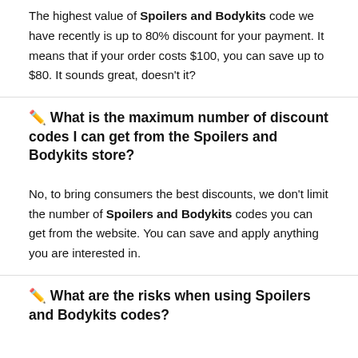The highest value of Spoilers and Bodykits code we have recently is up to 80% discount for your payment. It means that if your order costs $100, you can save up to $80. It sounds great, doesn't it?
✏️ What is the maximum number of discount codes I can get from the Spoilers and Bodykits store?
No, to bring consumers the best discounts, we don't limit the number of Spoilers and Bodykits codes you can get from the website. You can save and apply anything you are interested in.
✏️ What are the risks when using Spoilers and Bodykits codes?